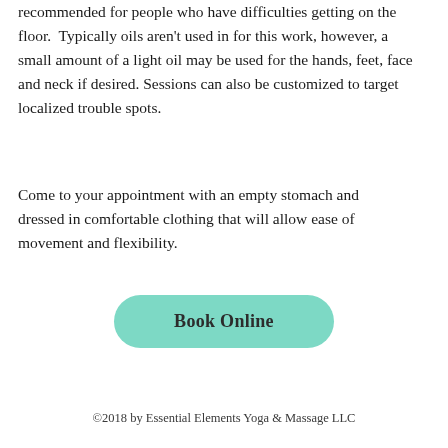recommended for people who have difficulties getting on the floor.  Typically oils aren't used in for this work, however, a small amount of a light oil may be used for the hands, feet, face and neck if desired. Sessions can also be customized to target localized trouble spots.
Come to your appointment with an empty stomach and dressed in comfortable clothing that will allow ease of movement and flexibility.
[Figure (other): A teal/mint colored rounded button labeled 'Book Online']
©2018 by Essential Elements Yoga & Massage LLC